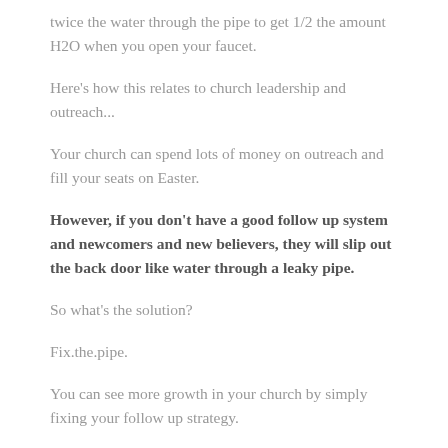twice the water through the pipe to get 1/2 the amount H2O when you open your faucet.
Here's how this relates to church leadership and outreach...
Your church can spend lots of money on outreach and fill your seats on Easter.
However, if you don't have a good follow up system and newcomers and new believers, they will slip out the back door like water through a leaky pipe.
So what's the solution?
Fix.the.pipe.
You can see more growth in your church by simply fixing your follow up strategy.